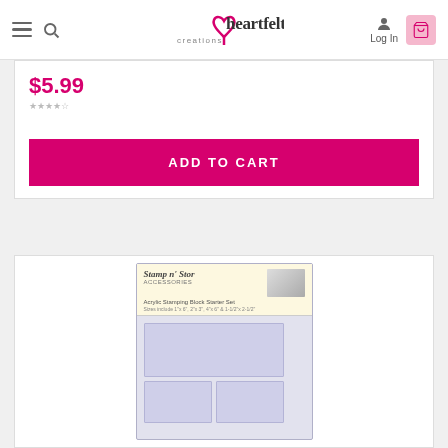heartfelt creations — navigation bar with hamburger menu, search, logo, Log In, cart
$5.99
ADD TO CART
[Figure (photo): Stamp n' Stor Accessories Acrylic Stamping Block Starter Set product packaging showing multiple clear acrylic blocks in a cream-colored blister pack]